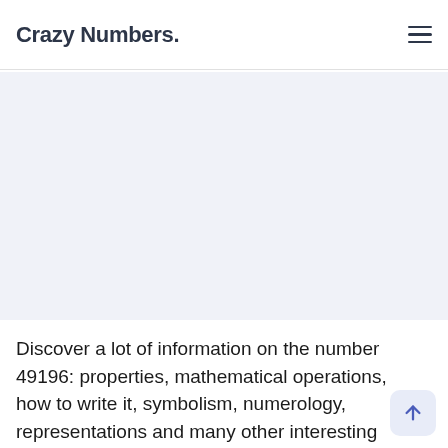Crazy Numbers.
[Figure (other): Advertisement or placeholder area with light blue-gray background]
Discover a lot of information on the number 49196: properties, mathematical operations, how to write it, symbolism, numerology, representations and many other interesting